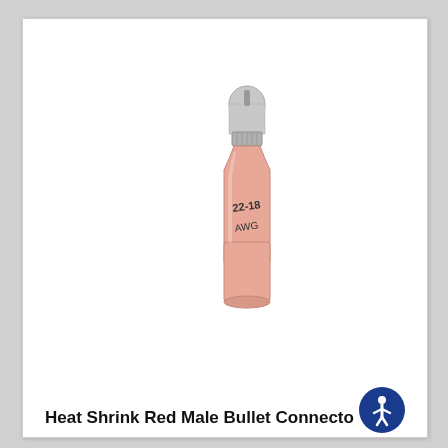[Figure (photo): A heat shrink red male bullet connector. The connector has a pink/red cylindrical heat shrink body with text '22-18 AWG' printed on it, and a silver metallic bullet-shaped male terminal protruding from the top.]
Heat Shrink Red Male Bullet Connector